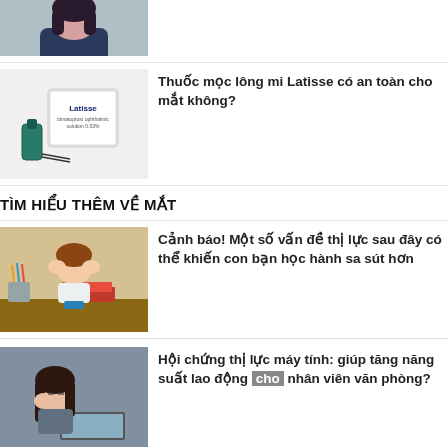[Figure (photo): Woman in dark blazer, partial crop at top of page]
[Figure (photo): Latisse eyelash serum product box and bottle]
Thuốc mọc lông mi Latisse có an toàn cho mắt không?
TÌM HIỂU THÊM VỀ MẮT
[Figure (photo): Child with head in hands sitting at desk with books and pencils]
Cảnh báo! Một số vấn đề thị lực sau đây có thể khiến con bạn học hành sa sút hơn
[Figure (photo): Woman rubbing her eyes at a computer]
Hội chứng thị lực máy tính: giúp tăng năng suất lao động cho nhân viên văn phòng?